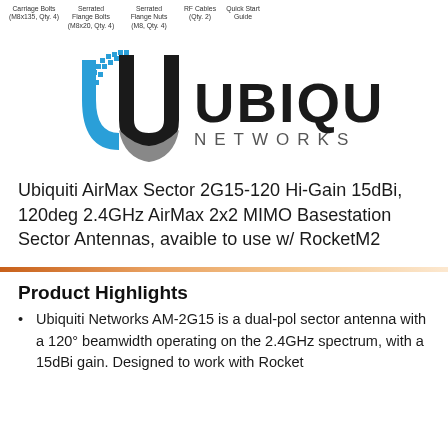[Figure (other): Small icons/images of hardware package contents: Carriage Bolts (M8x135, Qty. 4), Serrated Flange Bolts (M8x20, Qty. 4), Serrated Flange Nuts (M8, Qty. 4), RF Cables (Qty. 2), Quick Start Guide]
[Figure (logo): Ubiquiti Networks logo — stylized U icon in blue and grey, with bold UBIQUITI in black and NETWORKS in spaced grey letters]
Ubiquiti AirMax Sector 2G15-120 Hi-Gain 15dBi, 120deg 2.4GHz AirMax 2x2 MIMO Basestation Sector Antennas, avaible to use w/ RocketM2
Product Highlights
Ubiquiti Networks AM-2G15 is a dual-pol sector antenna with a 120° beamwidth operating on the 2.4GHz spectrum, with a 15dBi gain. Designed to work with Rocket